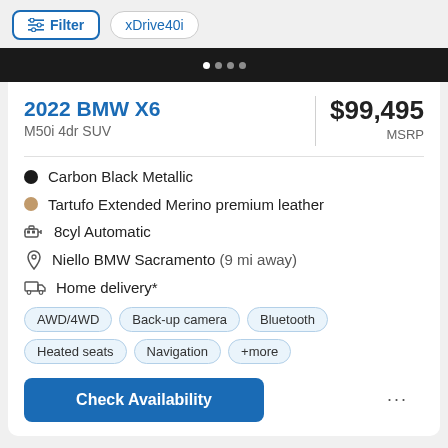Filter
xDrive40i
[Figure (photo): Black BMW X6 car image strip, dark background with carousel dots]
2022 BMW X6
M50i 4dr SUV
$99,495 MSRP
Carbon Black Metallic
Tartufo Extended Merino premium leather
8cyl Automatic
Niello BMW Sacramento (9 mi away)
Home delivery*
AWD/4WD
Back-up camera
Bluetooth
Heated seats
Navigation
+more
Check Availability